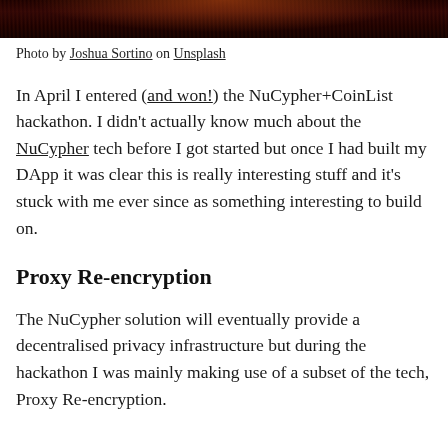[Figure (photo): Dark abstract photo strip with radial light burst pattern, reddish-orange center on dark background]
Photo by Joshua Sortino on Unsplash
In April I entered (and won!) the NuCypher+CoinList hackathon. I didn't actually know much about the NuCypher tech before I got started but once I had built my DApp it was clear this is really interesting stuff and it's stuck with me ever since as something interesting to build on.
Proxy Re-encryption
The NuCypher solution will eventually provide a decentralised privacy infrastructure but during the hackathon I was mainly making use of a subset of the tech, Proxy Re-encryption.